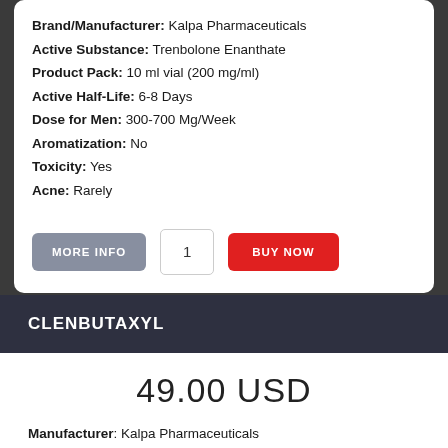Brand/Manufacturer: Kalpa Pharmaceuticals
Active Substance: Trenbolone Enanthate
Product Pack: 10 ml vial (200 mg/ml)
Active Half-Life: 6-8 Days
Dose for Men: 300-700 Mg/Week
Aromatization: No
Toxicity: Yes
Acne: Rarely
CLENBUTAXYL
49.00 USD
Manufacturer: Kalpa Pharmaceuticals
Substance: Clenbuterol Hydrochloride
Pack: 100 tabs (40 mcg/tab)